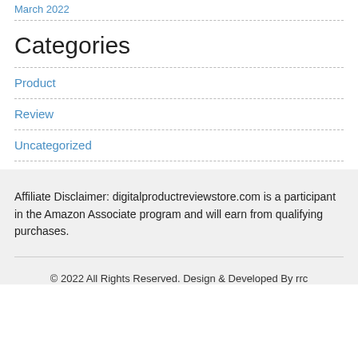March 2022
Categories
Product
Review
Uncategorized
Affiliate Disclaimer: digitalproductreviewstore.com is a participant in the Amazon Associate program and will earn from qualifying purchases.
© 2022 All Rights Reserved. Design & Developed By rrc